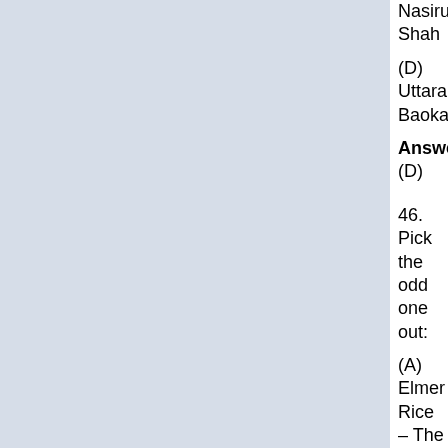Nasiruddin Shah
(D) Uttara Baokar
Answer: (D)
46. Pick the odd one out:
(A) Elmer Rice – The Adding Machine
(B) Christopher Fry – The Dark